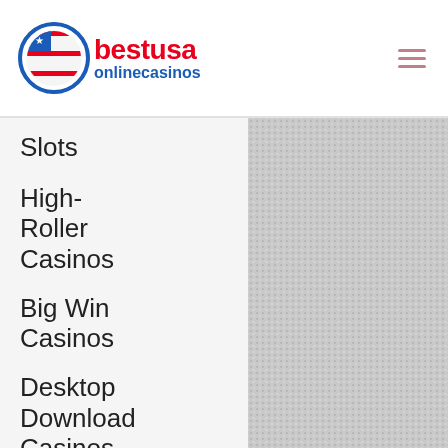[Figure (logo): bestusa onlinecasinos logo with US flag icon and hamburger menu]
Slots
High-Roller Casinos
Big Win Casinos
Desktop Download Casinos
Best US Dollar Casinos
Online
[Figure (other): Gray textured background content area on the right side]